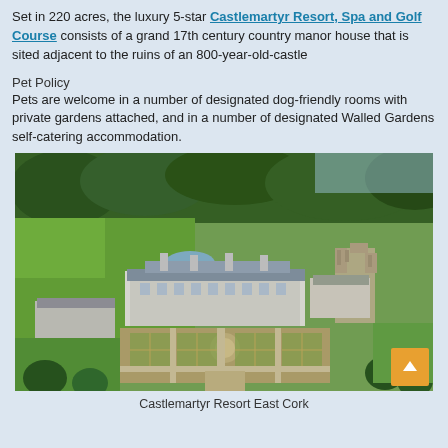Set in 220 acres, the luxury 5-star Castlemartyr Resort, Spa and Golf Course consists of a grand 17th century country manor house that is sited adjacent to the ruins of an 800-year-old-castle
Pet Policy
Pets are welcome in a number of designated dog-friendly rooms with private gardens attached, and in a number of designated Walled Gardens self-catering accommodation.
[Figure (photo): Aerial photograph of Castlemartyr Resort East Cork showing the grand manor house, formal gardens with geometric patterns, ruins of an old castle on the right, green fields, and surrounding woodland.]
Castlemartyr Resort East Cork